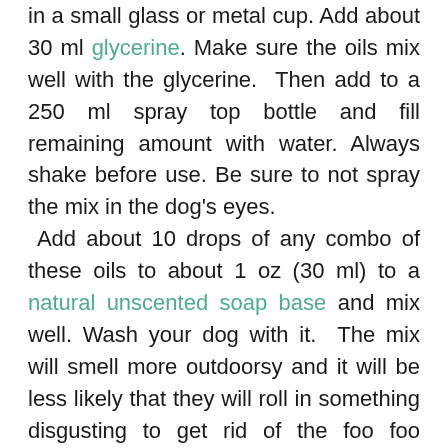in a small glass or metal cup. Add about 30 ml glycerine. Make sure the oils mix well with the glycerine. Then add to a 250 ml spray top bottle and fill remaining amount with water. Always shake before use. Be sure to not spray the mix in the dog's eyes.
 Add about 10 drops of any combo of these oils to about 1 oz (30 ml) to a natural unscented soap base and mix well. Wash your dog with it. The mix will smell more outdoorsy and it will be less likely that they will roll in something disgusting to get rid of the foo foo smelling shampoo you currently use. Strong fragrances attract bugs as well.
 Nothing is foolproof with tick prevention, so if a tick has latched on to your pooch, don't drop soaps/oils or anything else right on the tick. This can cause the tick to clamp harder or even die, leaving harmful pathogens under the skin.